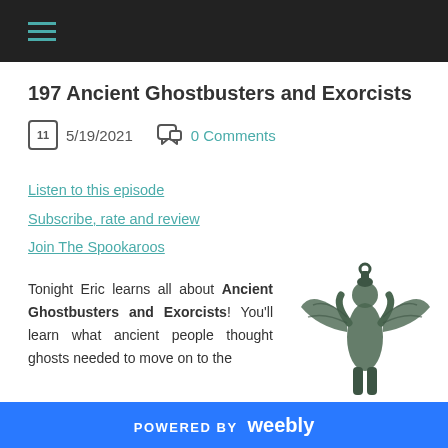Navigation menu
197 Ancient Ghostbusters and Exorcists
5/19/2021  0 Comments
Listen to this episode
Subscribe, rate and review
Join The Spookaroos
Tonight Eric learns all about Ancient Ghostbusters and Exorcists! You'll learn what ancient people thought ghosts needed to move on to the
[Figure (photo): Bronze or dark metal statuette of a winged figure with arms raised, appearing to be an ancient deity or protective spirit]
POWERED BY weebly